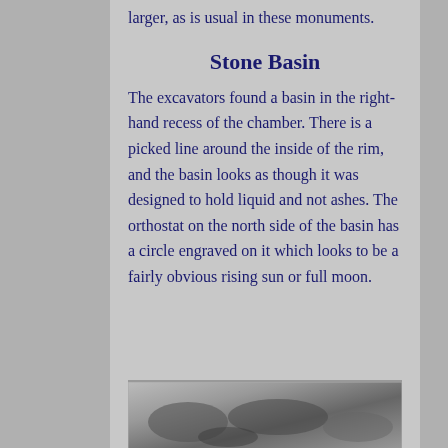larger, as is usual in these monuments.
Stone Basin
The excavators found a basin in the right-hand recess of the chamber. There is a picked line around the inside of the rim, and the basin looks as though it was designed to hold liquid and not ashes. The orthostat on the north side of the basin has a circle engraved on it which looks to be a fairly obvious rising sun or full moon.
[Figure (photo): Black and white photograph of an archaeological excavation showing the stone basin]